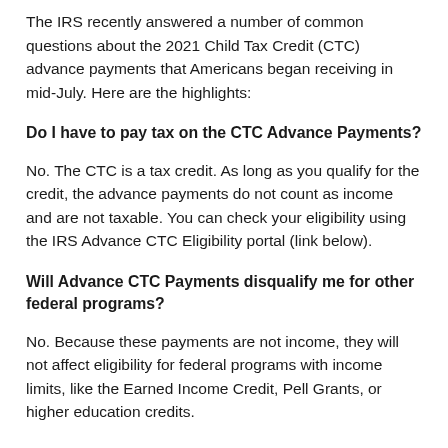The IRS recently answered a number of common questions about the 2021 Child Tax Credit (CTC) advance payments that Americans began receiving in mid-July. Here are the highlights:
Do I have to pay tax on the CTC Advance Payments?
No. The CTC is a tax credit. As long as you qualify for the credit, the advance payments do not count as income and are not taxable. You can check your eligibility using the IRS Advance CTC Eligibility portal (link below).
Will Advance CTC Payments disqualify me for other federal programs?
No. Because these payments are not income, they will not affect eligibility for federal programs with income limits, like the Earned Income Credit, Pell Grants, or higher education credits.